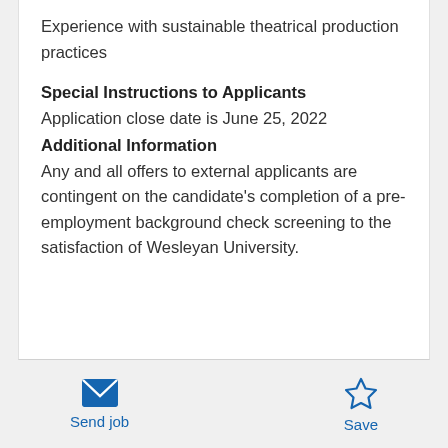Experience with sustainable theatrical production practices
Special Instructions to Applicants
Application close date is June 25, 2022
Additional Information
Any and all offers to external applicants are contingent on the candidate's completion of a pre-employment background check screening to the satisfaction of Wesleyan University.
Send job
Save